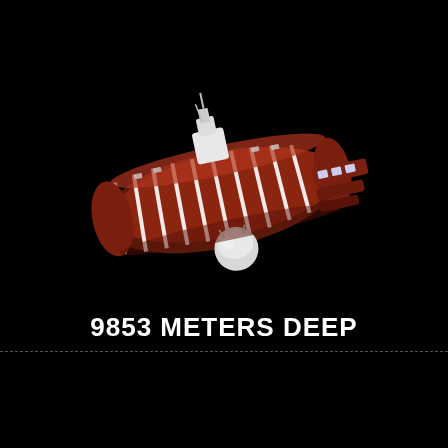[Figure (illustration): 3D illustration of a deep-sea submersible vessel with a cylindrical red-brown hull, white structural rings/ribs around it, a white conning tower on top, a spherical observation pod underneath, and flat platform extensions on the right side. The vessel is shown at an angle against a black background.]
9853 METERS DEEP